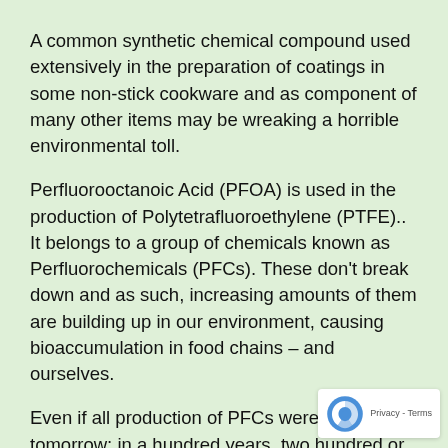A common synthetic chemical compound used extensively in the preparation of coatings in some non-stick cookware and as component of many other items may be wreaking a horrible environmental toll.
Perfluorooctanoic Acid (PFOA) is used in the production of Polytetrafluoroethylene (PTFE).. It belongs to a group of chemicals known as Perfluorochemicals (PFCs). These don't break down and as such, increasing amounts of them are building up in our environment, causing bioaccumulation in food chains – and ourselves.
Even if all production of PFCs were to cease tomorrow; in a hundred years, two hundred or even five hundred years from now, the same amount of these toxic chemicals would be present in the environment. It contaminates everything – air, water, soil; permanently.